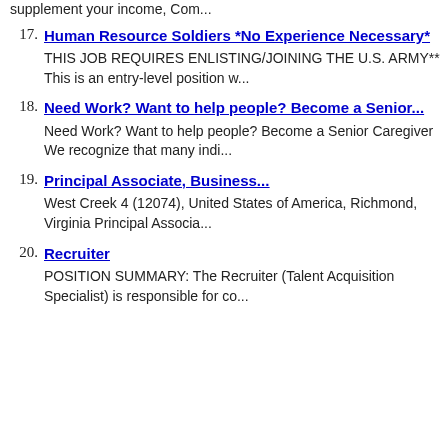supplement your income, Com...
17. Human Resource Soldiers *No Experience Necessary*
THIS JOB REQUIRES ENLISTING/JOINING THE U.S. ARMY** This is an entry-level position w...
18. Need Work? Want to help people? Become a Senior...
Need Work? Want to help people? Become a Senior Caregiver We recognize that many indi...
19. Principal Associate, Business...
West Creek 4 (12074), United States of America, Richmond, Virginia Principal Associa...
20. Recruiter
POSITION SUMMARY: The Recruiter (Talent Acquisition Specialist) is responsible for co...